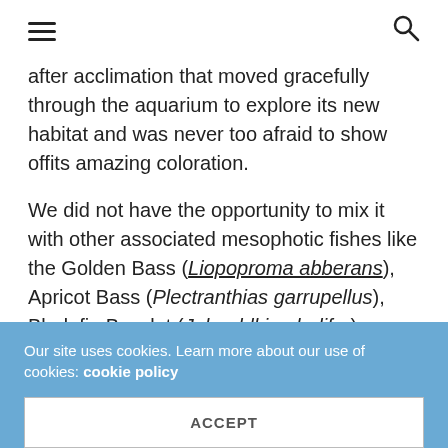≡  🔍
after acclimation that moved gracefully through the aquarium to explore its new habitat and was never too afraid to show offits amazing coloration.

We did not have the opportunity to mix it with other associated mesophotic fishes like the Golden Bass (Liopoproma abberans), Apricot Bass (Plectranthias garrupellus), Bladefin Basslet (Jeboehlkia gladifer), or Banded Basslet (Lipogramma evides), so I cannot comment on how it will interact with other fishes but if its normal demeanor is any indicator then this should be a peaceful fish indeed.
Our site uses cookies. Learn more about our use of cookies: cookie policy
ACCEPT